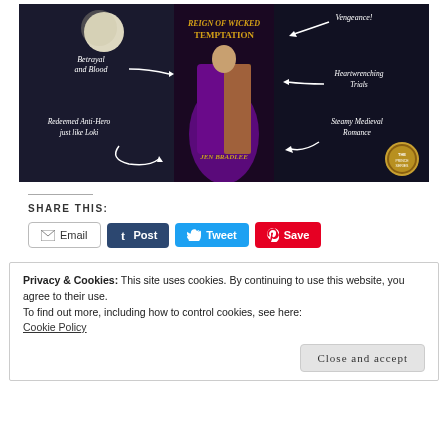[Figure (illustration): Book promotional image for 'Reign of Wicked Temptation' by Jen Bradlee. Dark fantasy/medieval romance cover with moon, a figure in purple and gold dress. White text labels with arrows: 'Betrayal and Blood', 'Vengeance!', 'Heartwrenching Trials', 'Redeemed Anti-Hero just like Loki', 'Steamy Medieval Romance'. Gold series badge bottom right.]
SHARE THIS:
Email | Post | Tweet | Save
Privacy & Cookies: This site uses cookies. By continuing to use this website, you agree to their use.
To find out more, including how to control cookies, see here:
Cookie Policy
Close and accept